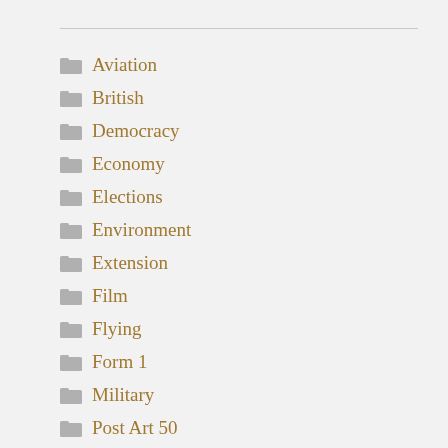Aviation
British
Democracy
Economy
Elections
Environment
Extension
Film
Flying
Form 1
Military
Post Art 50
Prompt